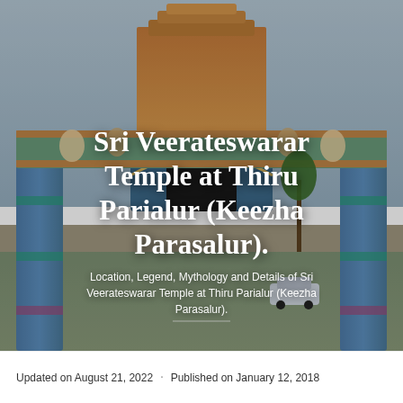[Figure (photo): Photograph of Sri Veerateswarar Temple at Thiru Parialur (Keezha Parasalur), showing a colorful South Indian temple gopuram with elaborate sculptures and a large decorative gateway arch, taken under an overcast sky.]
Sri Veerateswarar Temple at Thiru Parialur (Keezha Parasalur).
Location, Legend, Mythology and Details of Sri Veerateswarar Temple at Thiru Parialur (Keezha Parasalur).
Updated on August 21, 2022 · Published on January 12, 2018